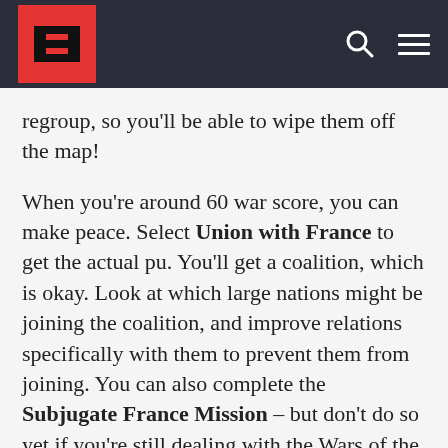[Logo] [Search] [Menu]
regroup, so you’ll be able to wipe them off the map!
When you’re around 60 war score, you can make peace. Select Union with France to get the actual pu. You’ll get a coalition, which is okay. Look at which large nations might be joining the coalition, and improve relations specifically with them to prevent them from joining. You can also complete the Subjugate France Mission – but don’t do so yet if you’re still dealing with the Wars of the Roses. See the next section for how to deal with that.